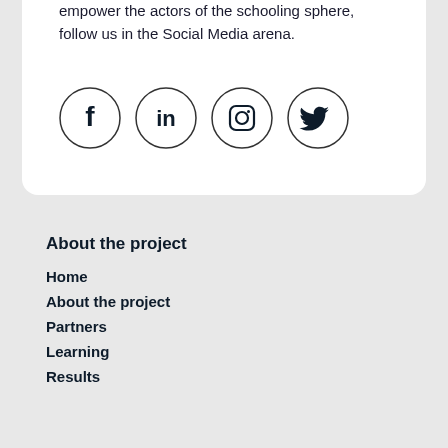empower the actors of the schooling sphere, follow us in the Social Media arena.
[Figure (illustration): Four social media icon circles: Facebook, LinkedIn, Instagram, Twitter]
About the project
Home
About the project
Partners
Learning
Results